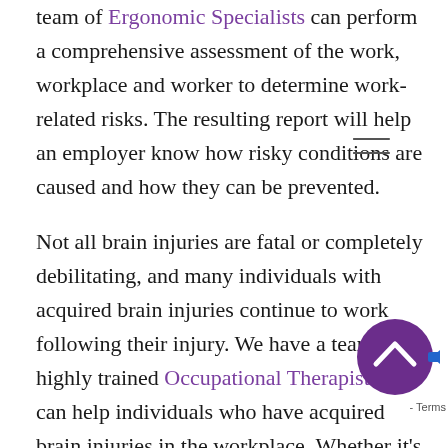team of Ergonomic Specialists can perform a comprehensive assessment of the work, workplace and worker to determine work-related risks. The resulting report will help an employer know how risky conditions are caused and how they can be prevented.
Not all brain injuries are fatal or completely debilitating, and many individuals with acquired brain injuries continue to work following their injury. We have a team of highly trained Occupational Therapists who can help individuals who have acquired brain injuries in the workplace. Whether it's a matter of an accommodation, return-to-work, or a functional cognitive assessment, our team works in collaboration with employers to ensure all employees are set u...
[Figure (other): Purple circular scroll-to-top button with upward chevron icon, partially overlapping text at bottom right]